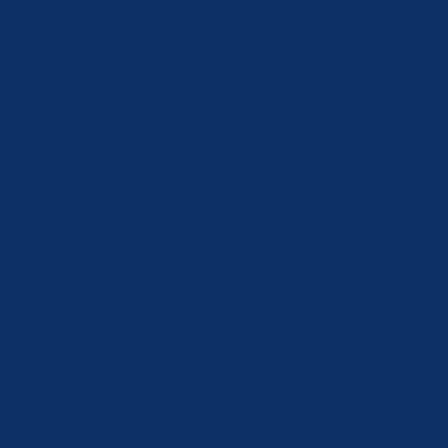[Figure (other): Dark navy blue background with a vertical spine or strip running down the center-right area of the page. White/light text characters are arranged vertically spelling out 'ereallywasabitmissinghere_the' reading downward along the spine.]